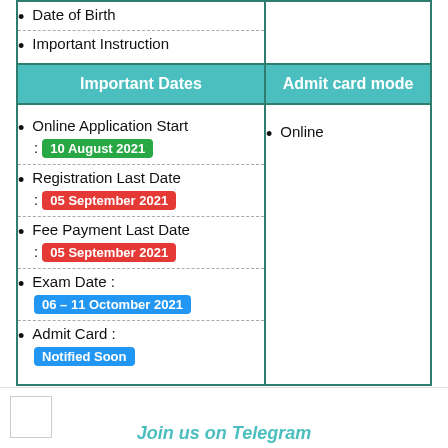|  |  |
| --- | --- |
| • Date of Birth
• Important Instruction |  |
| Important Dates | Admit card mode |
| • Online Application Start : 10 August 2021
• Registration Last Date : 05 September 2021
• Fee Payment Last Date : 05 September 2021
• Exam Date : 06 – 11 Octomber 2021
• Admit Card : Notified Soon | • Online |
Join us on Telegram